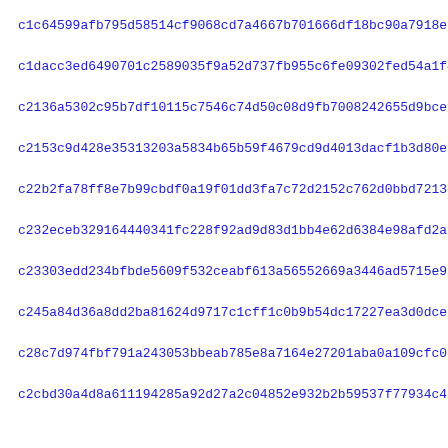c1c64599afb795d58514cf9068cd7a4667b701666df18bc90a7918e6db183
c1dacc3ed6490701c2589035f9a52d737fb955c6fe09302fed54a1f4eccfd
c2136a5302c95b7df10115c7546c74d50c08d9fb7008242655d9bcefe86f8
c2153c9d428e35313203a5834b65b59f4679cd9d4013dacf1b3d80e9294b4
c22b2fa78ff8e7b99cbdf0a19f01dd3fa7c72d2152c762d0bbd7213e3bb27
c232eceb329164440341fc228f92ad9d83d1bb4e62d6384e98afd2afe78354
c23303edd234bfbde5609f532ceabf613a56552669a3446ad5715e9b3d9e5
c245a84d36a8dd2ba81624d9717c1cff1c0b9b54dc17227ea3d0dce2a7b4a
c28c7d974fbf791a243053bbeab785e8a7164e27201aba0a109cfc08f5676
c2cbd30a4d8a611194285a92d27a2c04852e932b2b59537f77934c433bab3